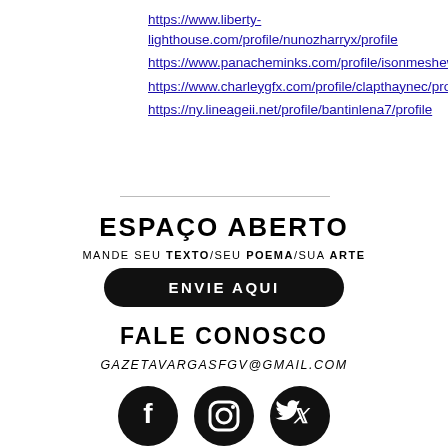https://www.liberty-lighthouse.com/profile/nunozharryx/profile
https://www.panacheminks.com/profile/isonmeshew4/profile
https://www.charleygfx.com/profile/clapthaynec/profile
https://ny.lineageii.net/profile/bantinlena7/profile
ESPAÇO ABERTO
MANDE SEU TEXTO/SEU POEMA/SUA ARTE
ENVIE AQUI
FALE CONOSCO
GAZETAVARGASFGV@GMAIL.COM
[Figure (illustration): Three social media icons: Facebook, Instagram, Twitter, in black circles]